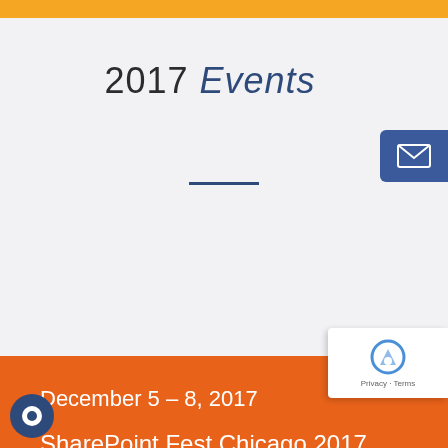2017 Events
December 5 – 8, 2017
SharePoint Fest Chicago 2017
Booth# 14, McCormick Place – South, Chicago, IL